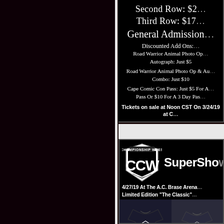[Figure (other): Dark left panel background (partial black/dark maroon page section)]
Second Row: $2[truncated]
Third Row: $17[truncated]
General Admission [truncated]
Discounted Add Ons:
Road Warrior Animal Photo Op [truncated] Autograph: Just $5
Road Warrior Animal Photo Op & Au[truncated] Combo: Just $10
Cape Comic Con Pass: Just $5 For A[truncated] Pass Or $10 For A 3 Day Pas[truncated]
Tickets on sale at Noon CST On 3/24/19 at C[truncated]
[Figure (logo): CCW Cape Championship Wrestling logo shield with letters CCW]
SuperSho[w] (truncated)
4/27/19 At The A.C. Brase Arena[truncated]
Limited Edition "The Classic"[truncated]
[Figure (photo): Two dark CCW t-shirts with CCW logo displayed side by side]